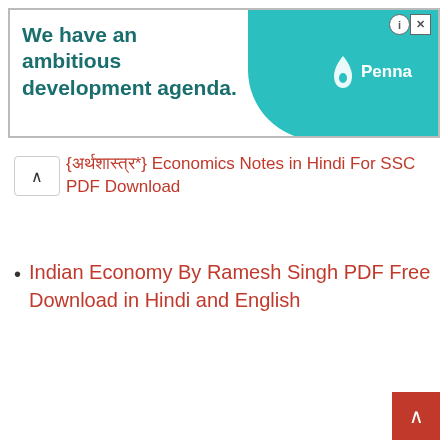[Figure (other): Advertisement banner with teal background featuring Penna logo and text 'We have an ambitious development agenda.']
{अर्थशास्त्र*} Economics Notes in Hindi For SSC PDF Download
Indian Economy By Ramesh Singh PDF Free Download in Hindi and English